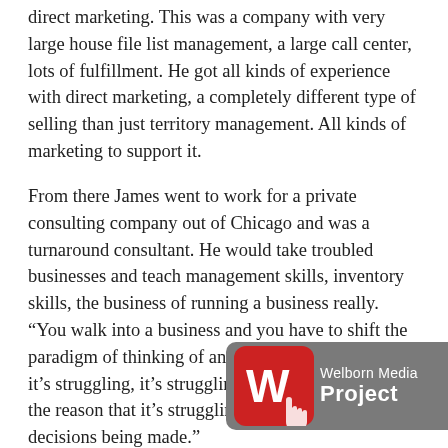direct marketing. This was a company with very large house file list management, a large call center, lots of fulfillment. He got all kinds of experience with direct marketing, a completely different type of selling than just territory management. All kinds of marketing to support it.
From there James went to work for a private consulting company out of Chicago and was a turnaround consultant. He would take troubled businesses and teach management skills, inventory skills, the business of running a business really. “You walk into a business and you have to shift the paradigm of thinking of an organization, because if it’s struggling, it’s struggling for a reason. Normally the reason that it’s struggling is because there’s bad decisions being made.”
With that job, he had young children and was on a plane 5 days a week. He said it was... had a lot of success.
[Figure (logo): Welborn Media Project logo — red rounded square with white W and cursor icon, grey background with white text reading Welborn Media Project]